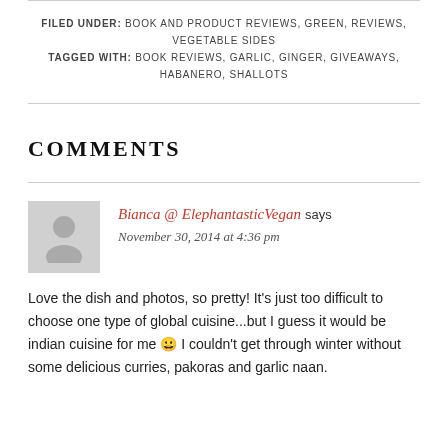FILED UNDER: BOOK AND PRODUCT REVIEWS, GREEN, REVIEWS, VEGETABLE SIDES
TAGGED WITH: BOOK REVIEWS, GARLIC, GINGER, GIVEAWAYS, HABANERO, SHALLOTS
COMMENTS
Bianca @ ElephantasticVegan says
November 30, 2014 at 4:36 pm
Love the dish and photos, so pretty! It's just too difficult to choose one type of global cuisine...but I guess it would be indian cuisine for me 😀 I couldn't get through winter without some delicious curries, pakoras and garlic naan.